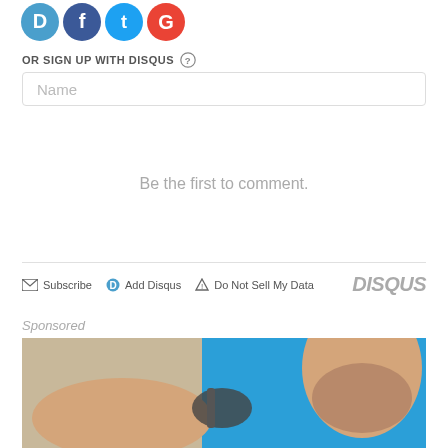[Figure (logo): Social media login icons: Disqus (blue D), Facebook (blue f), Twitter (blue bird), Google (red G) in circular buttons]
OR SIGN UP WITH DISQUS ?
Name
Be the first to comment.
Subscribe   Add Disqus   Do Not Sell My Data   DISQUS
Sponsored
[Figure (photo): A healthcare professional in blue scrubs using a medical device on a patient's shoulder/arm area]